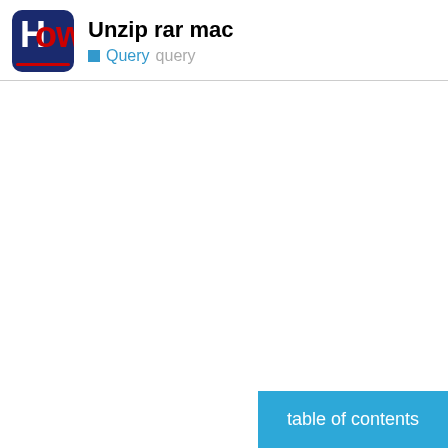Unzip rar mac | Query query
table of contents